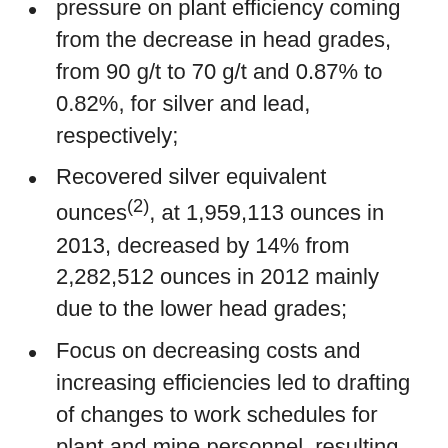pressure on plant efficiency coming from the decrease in head grades, from 90 g/t to 70 g/t and 0.87% to 0.82%, for silver and lead, respectively;
Recovered silver equivalent ounces(2), at 1,959,113 ounces in 2013, decreased by 14% from 2,282,512 ounces in 2012 mainly due to the lower head grades;
Focus on decreasing costs and increasing efficiencies led to drafting of changes to work schedules for plant and mine personnel, resulting in the reduction of overlaps and overtime. A review of the required manpower base led to the identification of operations and exploration personnel